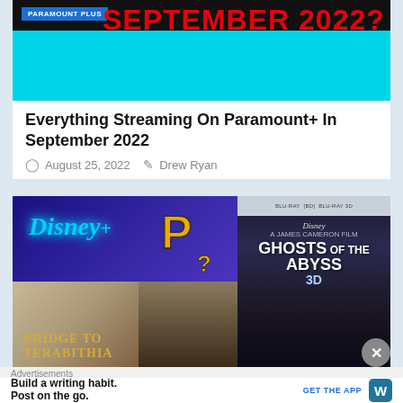[Figure (screenshot): Banner for Paramount Plus September 2022 streaming content with teal background and red text]
Everything Streaming On Paramount+ In September 2022
August 25, 2022   Drew Ryan
[Figure (screenshot): Composite image showing Disney+ and Paramount+ logos alongside movie covers including Bridge to Terabithia and Ghosts of the Abyss 3D]
Advertisements
Build a writing habit. Post on the go.   GET THE APP